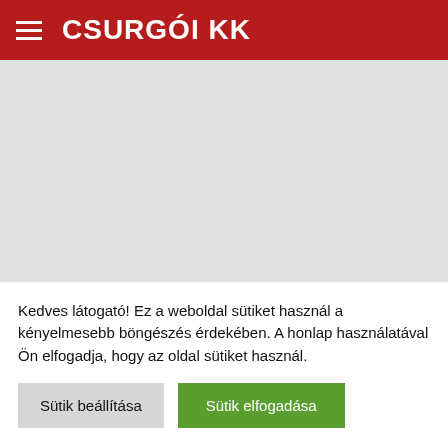CSURGÓI KK
[Figure (screenshot): Gray placeholder content area below the header]
FOOTER
Kedves látogató! Ez a weboldal sütiket használ a kényelmesebb böngészés érdekében. A honlap használatával Ön elfogadja, hogy az oldal sütiket használ.
Sütik beállítása | Sütik elfogadása